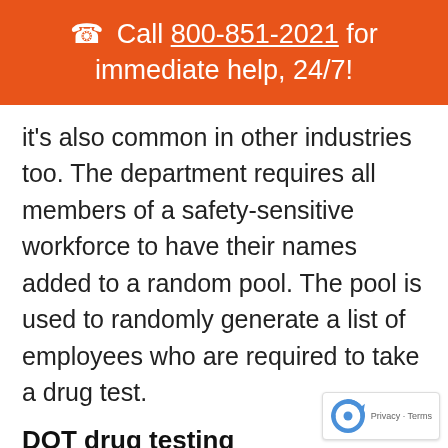📞 Call 800-851-2021 for immediate help, 24/7!
it's also common in other industries too. The department requires all members of a safety-sensitive workforce to have their names added to a random pool. The pool is used to randomly generate a list of employees who are required to take a drug test.
DOT drug testing